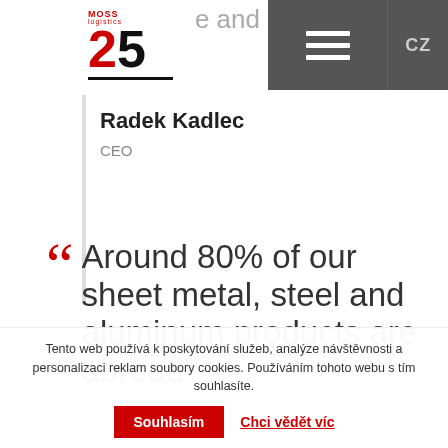[Figure (logo): MOSS logistics 25th anniversary logo with red and black text]
e and
CZ
Radek Kadlec
CEO
“ Around 80% of our sheet metal, steel and aluminum products are abroad
Tento web používá k poskytování služeb, analýze návštěvnosti a personalizaci reklam soubory cookies. Používáním tohoto webu s tím souhlasíte.
Souhlasím
Chci vědět víc